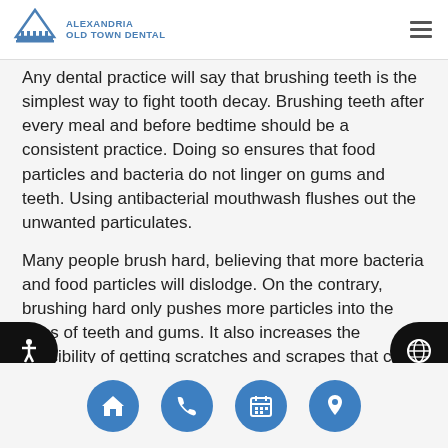ALEXANDRIA OLD TOWN DENTAL
Any dental practice will say that brushing teeth is the simplest way to fight tooth decay. Brushing teeth after every meal and before bedtime should be a consistent practice. Doing so ensures that food particles and bacteria do not linger on gums and teeth. Using antibacterial mouthwash flushes out the unwanted particulates.
Many people brush hard, believing that more bacteria and food particles will dislodge. On the contrary, brushing hard only pushes more particles into the gaps of teeth and gums. It also increases the possibility of getting scratches and scrapes that can become infected. Gentle, circular, up-and-down brushing can aid in the effective cleaning and polishing of teeth.